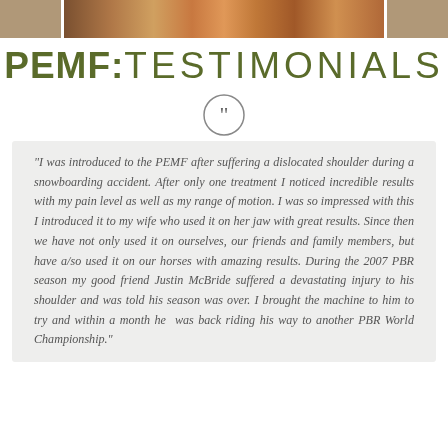[Figure (photo): Partial photo strip showing rodeo/sports action image at top of page]
PEMF:TESTIMONIALS
"I was introduced to the PEMF after suffering a dislocated shoulder during a snowboarding accident. After only one treatment I noticed incredible results with my pain level as well as my range of motion. I was so impressed with this I introduced it to my wife who used it on her jaw with great results. Since then we have not only used it on ourselves, our friends and family members, but have also used it on our horses with amazing results. During the 2007 PBR season my good friend Justin McBride suffered a devastating injury to his shoulder and was told his season was over. I brought the machine to him to try and within a month he was back riding his way to another PBR World Championship."